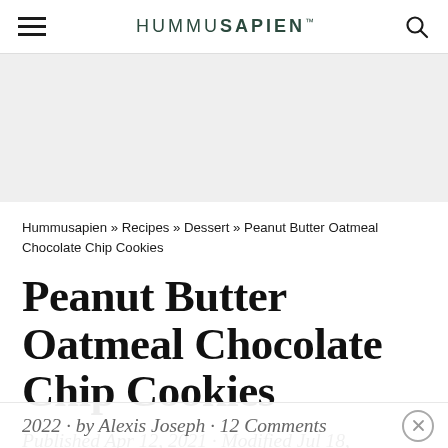HUMMUSAPIEN
[Figure (other): Advertisement / blank grey area]
Hummusapien » Recipes » Dessert » Peanut Butter Oatmeal Chocolate Chip Cookies
Peanut Butter Oatmeal Chocolate Chip Cookies
Published Apr 12, 2021 · Modified Jul 18, 2022 · by Alexis Joseph · 12 Comments